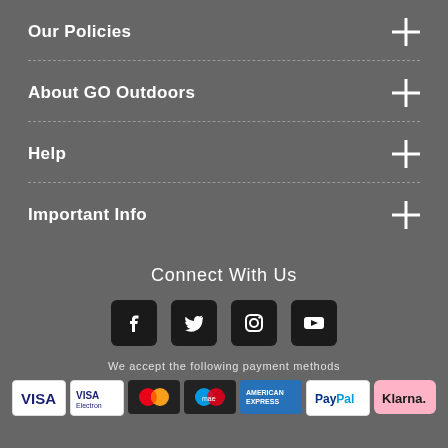Our Policies
About GO Outdoors
Help
Important Info
Connect With Us
[Figure (infographic): Social media icons: Facebook, Twitter, Instagram, YouTube]
We accept the following payment methods
[Figure (infographic): Payment method logos: VISA, VISA Debit, Mastercard, Maestro, American Express, PayPal, Klarna]